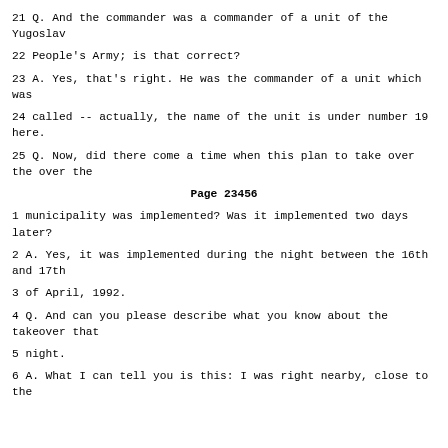21 Q. And the commander was a commander of a unit of the Yugoslav
22 People's Army; is that correct?
23 A. Yes, that's right. He was the commander of a unit which was
24 called -- actually, the name of the unit is under number 19 here.
25 Q. Now, did there come a time when this plan to take over the
Page 23456
1 municipality was implemented? Was it implemented two days later?
2 A. Yes, it was implemented during the night between the 16th and 17th
3 of April, 1992.
4 Q. And can you please describe what you know about the takeover that
5 night.
6 A. What I can tell you is this: I was right nearby, close to the